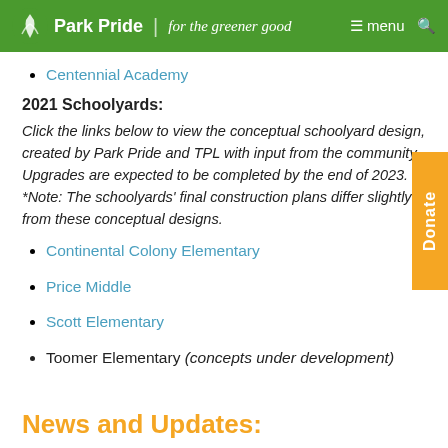Park Pride | for the greener good
Centennial Academy
2021 Schoolyards:
Click the links below to view the conceptual schoolyard design, created by Park Pride and TPL with input from the community. Upgrades are expected to be completed by the end of 2023. *Note: The schoolyards' final construction plans differ slightly from these conceptual designs.
Continental Colony Elementary
Price Middle
Scott Elementary
Toomer Elementary (concepts under development)
News and Updates: